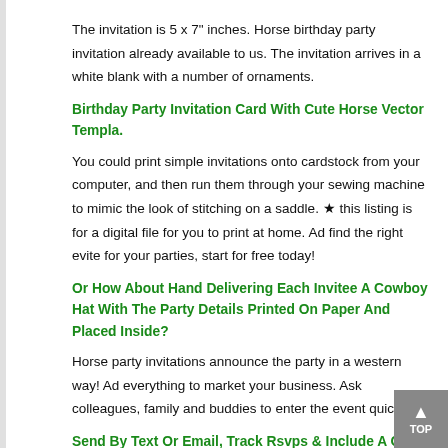The invitation is 5 x 7" inches. Horse birthday party invitation already available to us. The invitation arrives in a white blank with a number of ornaments.
Birthday Party Invitation Card With Cute Horse Vector Templa.
You could print simple invitations onto cardstock from your computer, and then run them through your sewing machine to mimic the look of stitching on a saddle. ★ this listing is for a digital file for you to print at home. Ad find the right evite for your parties, start for free today!
Or How About Hand Delivering Each Invitee A Cowboy Hat With The Party Details Printed On Paper And Placed Inside?
Horse party invitations announce the party in a western way! Ad everything to market your business. Ask colleagues, family and buddies to enter the event quickly.
Send By Text Or Email, Track Rsvps & Include A Gift